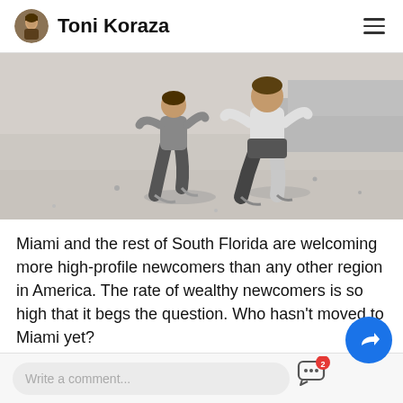Toni Koraza
[Figure (photo): Black and white photo of two children running on a beach, viewed from behind]
Miami and the rest of South Florida are welcoming more high-profile newcomers than any other region in America. The rate of wealthy newcomers is so high that it begs the question. Who hasn't moved to Miami yet?
Read full story >